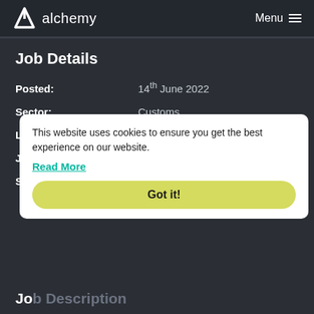alchemy   Menu
Job Details
Posted: 14th June 2022
Sector: Customs
Location: Nuneaton, England
Job Ref: 14773
Salary: £50,000 - £70,000
This website uses cookies to ensure you get the best experience on our website. Read More
Got it!
Job Description